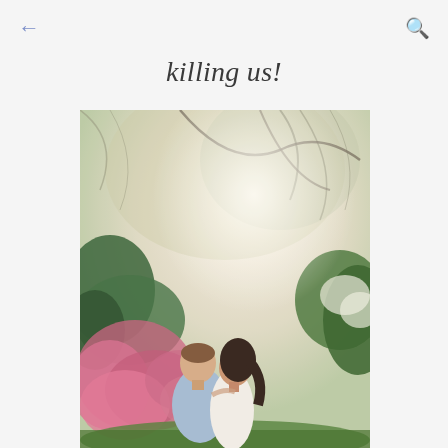← [back] [search]
killing us!
[Figure (photo): A couple embracing outdoors in a lush garden setting with pink flowering azalea bushes, green shrubs, and tall trees with hanging moss in the background. The man has brown hair and wears a light blue shirt; the woman has dark hair and wears a white outfit. Soft, warm, natural light fills the scene.]